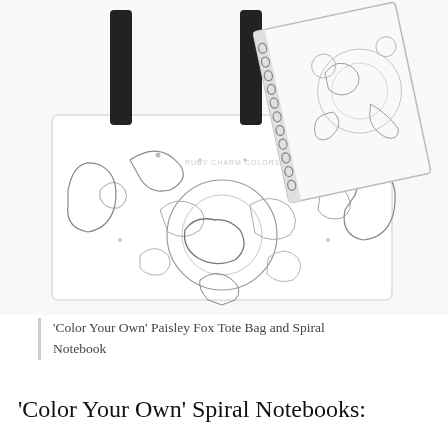[Figure (photo): Product photo showing a 'Color Your Own' Paisley Fox Tote Bag with black handles featuring intricate black-and-white mandala/paisley fox coloring design, and a spiral-bound notebook with the same design, both by Ruby Charm Colors.]
'Color Your Own' Paisley Fox Tote Bag and Spiral Notebook
'Color Your Own' Spiral Notebooks: